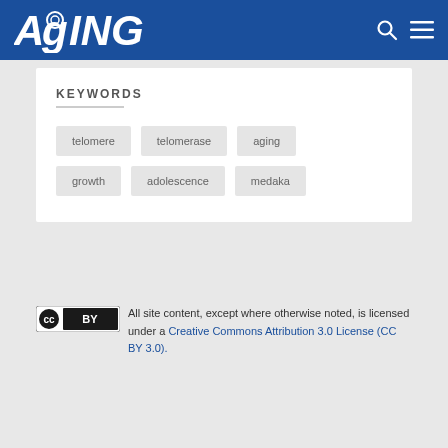AGING
KEYWORDS
telomere
telomerase
aging
growth
adolescence
medaka
All site content, except where otherwise noted, is licensed under a Creative Commons Attribution 3.0 License (CC BY 3.0).